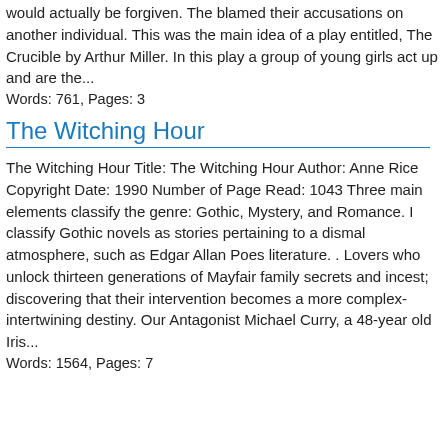would actually be forgiven. The blamed their accusations on another individual. This was the main idea of a play entitled, The Crucible by Arthur Miller. In this play a group of young girls act up and are the...
Words: 761, Pages: 3
The Witching Hour
The Witching Hour Title: The Witching Hour Author: Anne Rice Copyright Date: 1990 Number of Page Read: 1043 Three main elements classify the genre: Gothic, Mystery, and Romance. I classify Gothic novels as stories pertaining to a dismal atmosphere, such as Edgar Allan Poes literature. . Lovers who unlock thirteen generations of Mayfair family secrets and incest; discovering that their intervention becomes a more complex-intertwining destiny. Our Antagonist Michael Curry, a 48-year old Iris...
Words: 1564, Pages: 7